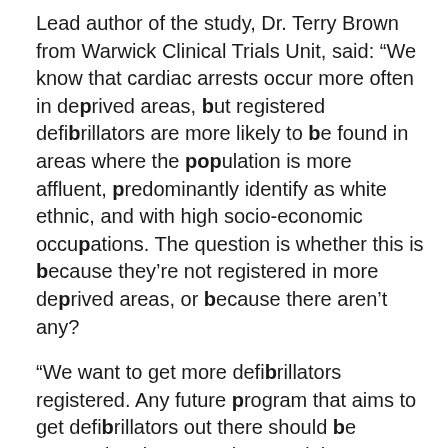Lead author of the study, Dr. Terry Brown from Warwick Clinical Trials Unit, said: “We know that cardiac arrests occur more often in deprived areas, but registered defibrillators are more likely to be found in areas where the population is more affluent, predominantly identify as white ethnic, and with high socio-economic occupations. The question is whether this is because they’re not registered in more deprived areas, or because there aren’t any?
“We want to get more defibrillators registered. Any future program that aims to get defibrillators out there should be targeted to the areas that need them most. In particular, they should be put in more deprived communities, and in accessible locations in residential areas given that more than 80 percent of out of hospital cardiac arrests happen in the home. There should be a more